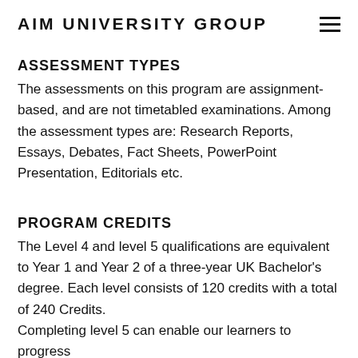AIM UNIVERSITY GROUP
ASSESSMENT TYPES
The assessments on this program are assignment-based, and are not timetabled examinations. Among the assessment types are: Research Reports, Essays, Debates, Fact Sheets, PowerPoint Presentation, Editorials etc.
PROGRAM CREDITS
The Level 4 and level 5 qualifications are equivalent to Year 1 and Year 2 of a three-year UK Bachelor's degree. Each level consists of 120 credits with a total of 240 Credits.
Completing level 5 can enable our learners to progress